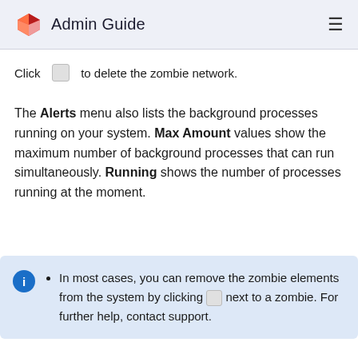Admin Guide
Click  [icon]  to delete the zombie network.
The Alerts menu also lists the background processes running on your system. Max Amount values show the maximum number of background processes that can run simultaneously. Running shows the number of processes running at the moment.
In most cases, you can remove the zombie elements from the system by clicking [icon] next to a zombie. For further help, contact support.